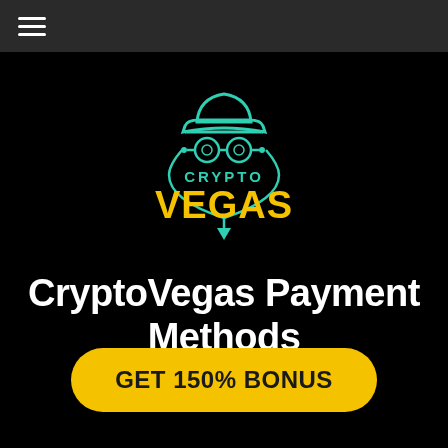[Figure (logo): CryptoVegas logo: a stylized spy figure with a fedora hat, goggles, and a diamond-shaped frame. 'CRYPTO' in teal/green text above 'VEGAS' in large golden text.]
CryptoVegas Payment Methods
GET 150% BONUS